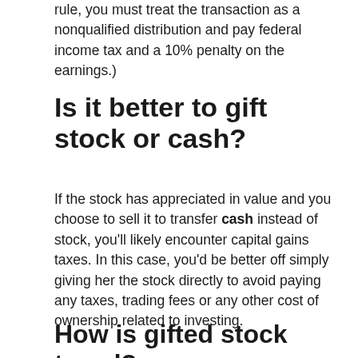rule, you must treat the transaction as a nonqualified distribution and pay federal income tax and a 10% penalty on the earnings.)
Is it better to gift stock or cash?
If the stock has appreciated in value and you choose to sell it to transfer cash instead of stock, you'll likely encounter capital gains taxes. In this case, you'd be better off simply giving her the stock directly to avoid paying any taxes, trading fees or any other cost of ownership related to investing.
How is gifted stock taxed?